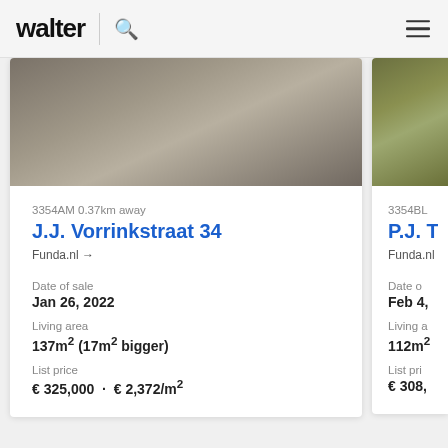walter
[Figure (screenshot): Property listing card for J.J. Vorrinkstraat 34 showing a blurred/dark exterior photo]
3354AM 0.37km away
J.J. Vorrinkstraat 34
Funda.nl →
Date of sale
Jan 26, 2022
Living area
137m² (17m² bigger)
List price
€ 325,000  ·  € 2,372/m²
[Figure (screenshot): Partial property listing card for P.J. Tr... showing a dark olive/green exterior photo]
3354BL
P.J. Tr
Funda.nl
Date of
Feb 4,
Living a
112m²
List pri
€ 308,